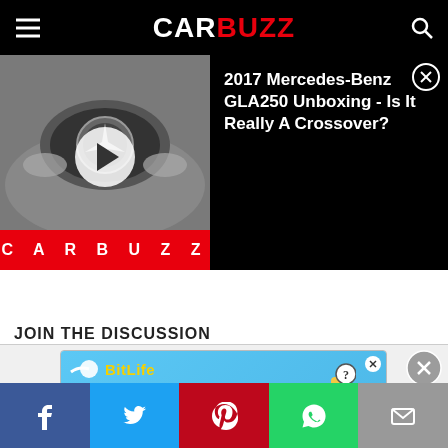CarBuzz
[Figure (screenshot): CarBuzz website screenshot showing a video thumbnail of a 2017 Mercedes-Benz GLA250 with a red CarBuzz bar at the bottom of the thumbnail]
2017 Mercedes-Benz GLA250 Unboxing - Is It Really A Crossover?
JOIN THE DISCUSSION
[Figure (infographic): BitLife advertisement banner - NOW WITH GOD MODE]
[Figure (infographic): Social sharing bar with Facebook, Twitter, Pinterest, WhatsApp, and Email buttons]